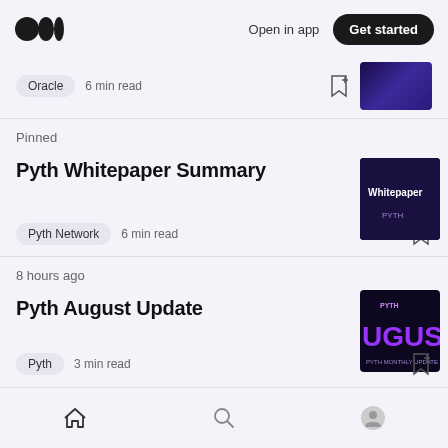Medium logo | Open in app | Get started
Oracle  6 min read
Pinned
Pyth Whitepaper Summary
Pyth Network  6 min read
8 hours ago
Pyth August Update
Pyth  3 min read
Home | Search | Profile